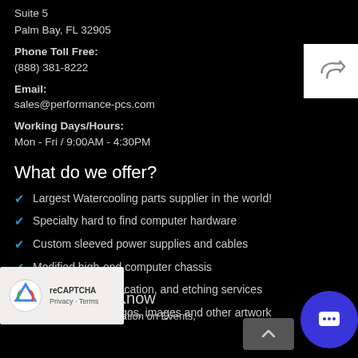Suite 5
Palm Bay, FL 32905
Phone Toll Free:
(888) 381-8222
Email:
sales@performance-pcs.com
Working Days/Hours:
Mon - Fri / 9:00AM - 4:30PM
What do we offer?
Largest Watercooling parts supplier in the world!
Specialty hard to find computer hardware
Custom sleeved power supplies and cables
Modified high-end computer chassis
Laser Cutting,fabrication, and etching services
Vinyl cutting for logos, images and other artwork
First to Know
Get all the latest information on Events,